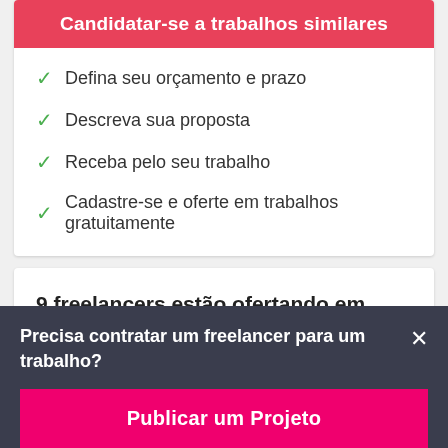Candidatar-se a trabalhos similares
Defina seu orçamento e prazo
Descreva sua proposta
Receba pelo seu trabalho
Cadastre-se e oferte em trabalhos gratuitamente
9 freelancers estão ofertando em média ₹9030 nesse trabalho.
Precisa contratar um freelancer para um trabalho?
Publicar um Projeto